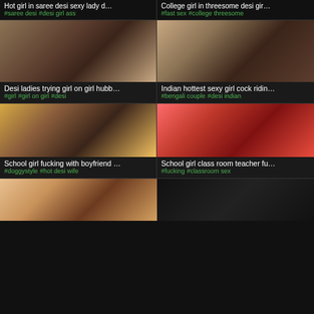Hot girl in saree desi sexy lady d…
#saree desi #desi girl ass
College girl in threesome desi gir…
#fast sex #college threesome
[Figure (photo): Adult content thumbnail 1]
Desi ladies trying girl on girl hubb…
#girl #girl on girl #desi
[Figure (photo): Adult content thumbnail 2]
Indian hottest sexy girl cock ridin…
#bengali couple #desi indian
[Figure (photo): Adult content thumbnail 3]
School girl fucking with boyfriend …
#doggystyle #hot desi wife
[Figure (photo): Adult content thumbnail 4]
School girl class room teacher fu…
#fucking #classroom sex
[Figure (photo): Adult content thumbnail 5 (partial)]
[Figure (photo): Adult content thumbnail 6 (partial)]